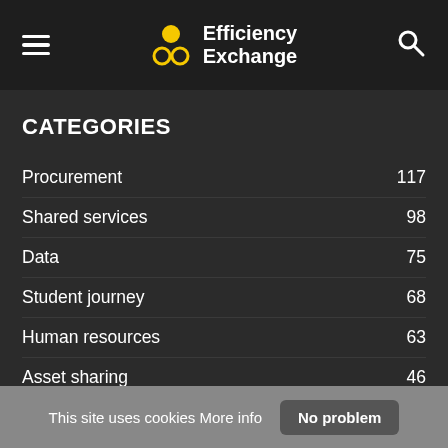Efficiency Exchange
CATEGORIES
Procurement 117
Shared services 98
Data 75
Student journey 68
Human resources 63
Asset sharing 46
Efficiency review 2015 46
Teaching & learning 45
Estates 44
This site uses cookies More info No problem